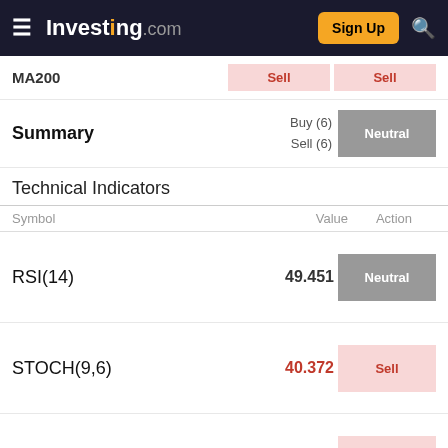Investing.com — Sign Up
MA200 — Sell / Sell
Summary — Buy (6) Sell (6) — Neutral
Technical Indicators
| Symbol | Value | Action |
| --- | --- | --- |
| RSI(14) | 49.451 | Neutral |
| STOCH(9,6) | 40.372 | Sell |
| STOCHRSI(14) | 44.964 | Sell |